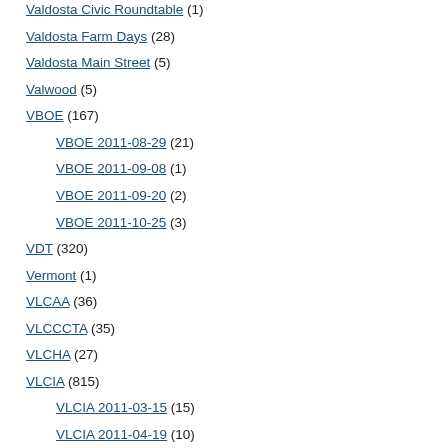Valdosta Civic Roundtable (1)
Valdosta Farm Days (28)
Valdosta Main Street (5)
Valwood (5)
VBOE (167)
VBOE 2011-08-29 (21)
VBOE 2011-09-08 (1)
VBOE 2011-09-20 (2)
VBOE 2011-10-25 (3)
VDT (320)
Vermont (1)
VLCAA (36)
VLCCCTA (35)
VLCHA (27)
VLCIA (815)
VLCIA 2011-03-15 (15)
VLCIA 2011-04-19 (10)
VLCIA 2011-05-17 (10)
VLCIA 2011-06-14 (12)